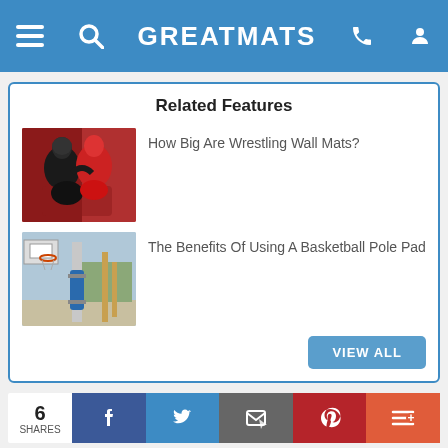GREATMATS
Related Features
[Figure (photo): Two wrestlers grappling on a red wrestling mat]
How Big Are Wrestling Wall Mats?
[Figure (photo): Basketball pole with a blue pole pad on an outdoor court]
The Benefits Of Using A Basketball Pole Pad
VIEW ALL
6
SHARES